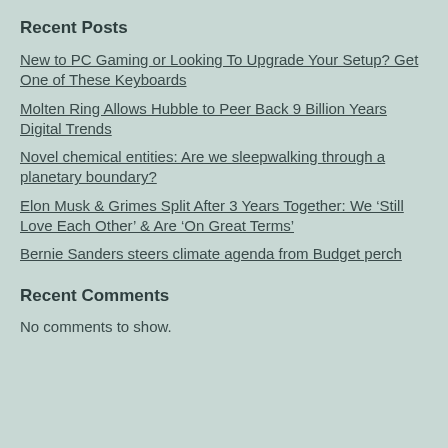Recent Posts
New to PC Gaming or Looking To Upgrade Your Setup? Get One of These Keyboards
Molten Ring Allows Hubble to Peer Back 9 Billion Years Digital Trends
Novel chemical entities: Are we sleepwalking through a planetary boundary?
Elon Musk & Grimes Split After 3 Years Together: We ‘Still Love Each Other’ & Are ‘On Great Terms’
Bernie Sanders steers climate agenda from Budget perch
Recent Comments
No comments to show.